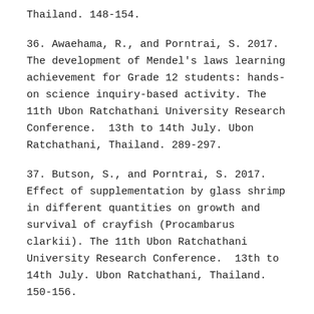Thailand. 148-154.
36. Awaehama, R., and Porntrai, S. 2017. The development of Mendel's laws learning achievement for Grade 12 students: hands-on science inquiry-based activity. The 11th Ubon Ratchathani University Research Conference.  13th to 14th July. Ubon Ratchathani, Thailand. 289-297.
37. Butson, S., and Porntrai, S. 2017. Effect of supplementation by glass shrimp in different quantities on growth and survival of crayfish (Procambarus clarkii). The 11th Ubon Ratchathani University Research Conference.  13th to 14th July. Ubon Ratchathani, Thailand. 150-156.
38. Chabua, P., and Porntrai, S. 2017. The effect of three carotenoid sources on growth and pigmentation of crayfish Procambarus clarkii. The 11th Ubon Ratchathani University Research Conference.  13th to